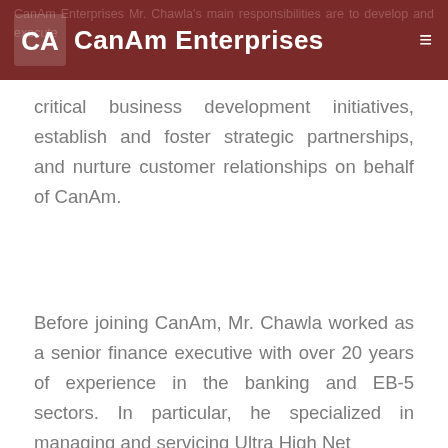CanAm Enterprises
critical business development initiatives, establish and foster strategic partnerships, and nurture customer relationships on behalf of CanAm.
Before joining CanAm, Mr. Chawla worked as a senior finance executive with over 20 years of experience in the banking and EB-5 sectors. In particular, he specialized in managing and servicing Ultra High Net